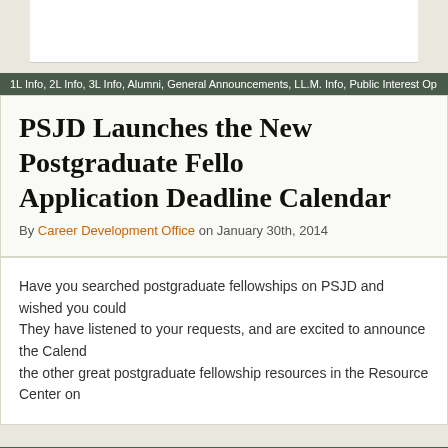1L Info, 2L Info, 3L Info, Alumni, General Announcements, LL.M. Info, Public Interest Op
PSJD Launches the New Postgraduate Fellowship Application Deadline Calendar
By Career Development Office on January 30th, 2014
Have you searched postgraduate fellowships on PSJD and wished you could. They have listened to your requests, and are excited to announce the Calendar the other great postgraduate fellowship resources in the Resource Center on
1L Info, 2L Info, 3L Info, General Announcements, LL.M. Info, Resources, Uncategorized
2013-2014 Beveridge & Diamond Constitutional Environmental Law Writing Competition